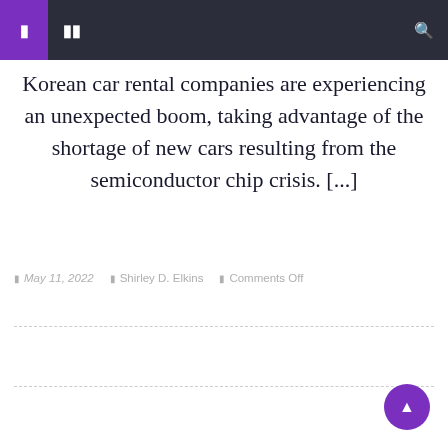Navigation bar with menu icons and search
Korean car rental companies are experiencing an unexpected boom, taking advantage of the shortage of new cars resulting from the semiconductor chip crisis. [...]
May 11, 2022  Shirley D. Elkins  Comments Off